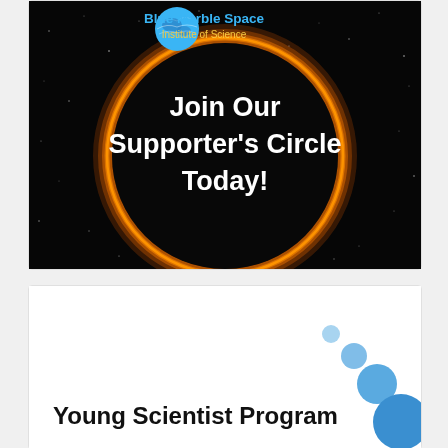[Figure (illustration): Blue Marble Space Institute of Science promotional image with dark space background, orange glowing circle/black hole effect, and bold white text reading 'Join Our Supporter's Circle Today!']
[Figure (logo): Young Scientist Program logo with text and blue dots of increasing size arranged diagonally]